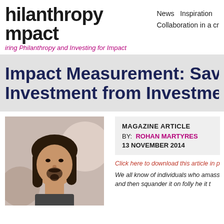philanthropy impact
News  Inspiration  Collaboration in a cr
iring Philanthropy and Investing for Impact
Impact Measurement: Saving Investment from Investment
[Figure (photo): Photo of Rohan Martyres, a man with long dark hair and a beard, against a blurred background]
MAGAZINE ARTICLE
BY: ROHAN MARTYRES
13 NOVEMBER 2014
Click here to download this article in p
We all know of individuals who amass and then squander it on folly he it t